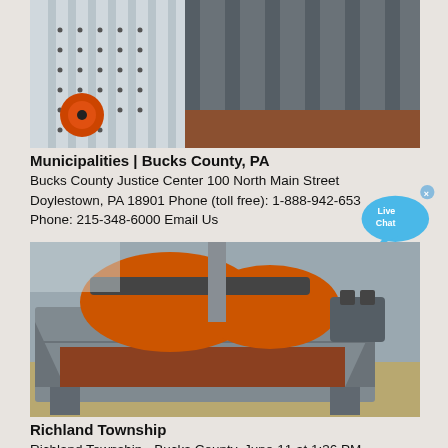[Figure (photo): Industrial vibrating screen machine, white/gray metal with orange wheel component, perforated panels, close-up view in a facility]
Municipalities | Bucks County, PA
Bucks County Justice Center 100 North Main Street Doylestown, PA 18901 Phone (toll free): 1-888-942-653… Phone: 215-348-6000 Email Us
[Figure (photo): Industrial vibrating screen/feeder machine with orange mechanical components on top, gray metal frame, sitting in an industrial warehouse]
Richland Township
Richland Township - Bucks County. June 11 at 1:36 PM ·. This is a page from a Bucks County Emergency Service...